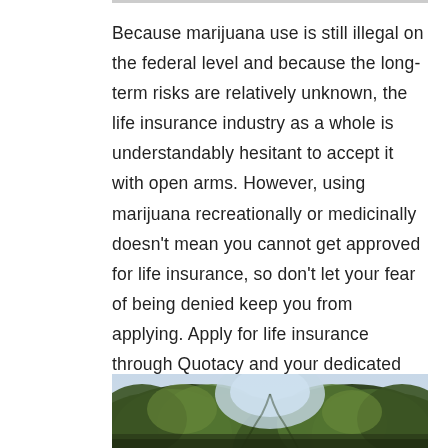Because marijuana use is still illegal on the federal level and because the long-term risks are relatively unknown, the life insurance industry as a whole is understandably hesitant to accept it with open arms. However, using marijuana recreationally or medicinally doesn't mean you cannot get approved for life insurance, so don't let your fear of being denied keep you from applying. Apply for life insurance through Quotacy and your dedicated agent will work hard to find you the life insurance company that matches best with you.
[Figure (photo): Outdoor photo showing tree foliage against a sky background]